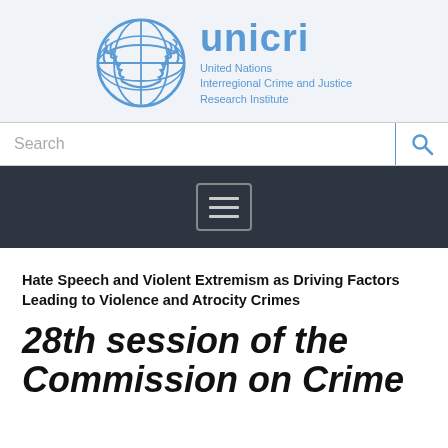[Figure (logo): UNICRI logo: UN emblem (globe with laurel wreath) in blue, next to 'unicri' in large blue letters, with subtitle 'United Nations Interregional Crime and Justice Research Institute']
[Figure (screenshot): Search bar with placeholder text 'Search' and blue magnifying glass icon button]
[Figure (screenshot): Dark navigation bar with hamburger menu icon (three horizontal lines in a rounded rectangle)]
Hate Speech and Violent Extremism as Driving Factors Leading to Violence and Atrocity Crimes
28th session of the Commission on Crime